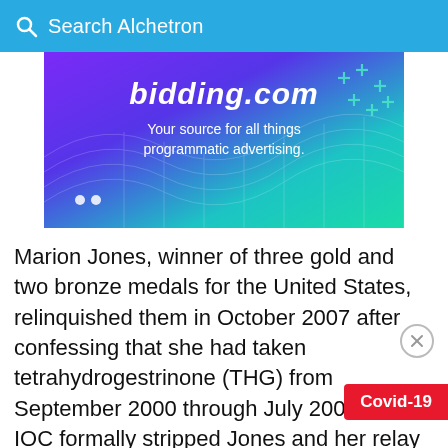Search Alchetron
[Figure (other): Advertisement banner for bidding.com: purple to teal gradient background with text 'bidding.com Your source for all things programmatic advertising.' with decorative grid wave and plus signs.]
Marion Jones, winner of three gold and two bronze medals for the United States, relinquished them in October 2007 after confessing that she had taken tetrahydrogestrinone (THG) from September 2000 through July 2001. The IOC formally stripped Jones and her relay teammates of their 5 medals, although her teammates were to be offered opportunity to present a case for retaining medals. Eventually, Jones's teammates had their